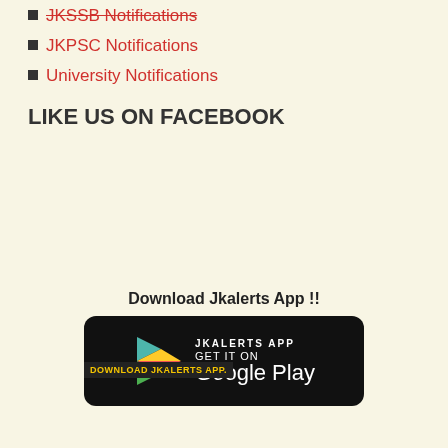JKSSB Notifications
JKPSC Notifications
University Notifications
LIKE US ON FACEBOOK
Download Jkalerts App !!
[Figure (logo): Google Play Store badge with JKALERTS APP text and Play Store triangle logo on black rounded rectangle background. Overlay label: DOWNLOAD JKALERTS APP.]